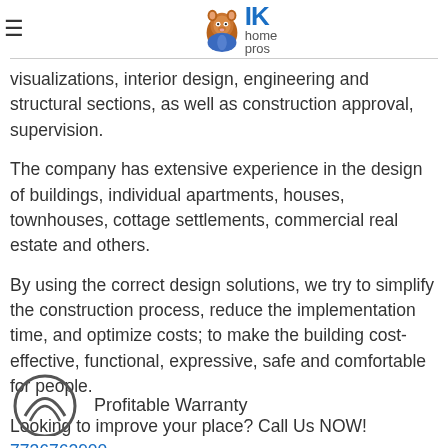IK home pros
Our architectural company in Schaumburg provides the development of architectural solutions, concepts, visualizations, interior design, engineering and structural sections, as well as construction approval, supervision.
The company has extensive experience in the design of buildings, individual apartments, houses, townhouses, cottage settlements, commercial real estate and others.
By using the correct design solutions, we try to simplify the construction process, reduce the implementation time, and optimize costs; to make the building cost-effective, functional, expressive, safe and comfortable for people.
Looking to improve your place? Call Us NOW! 7736762900
Profitable Warranty